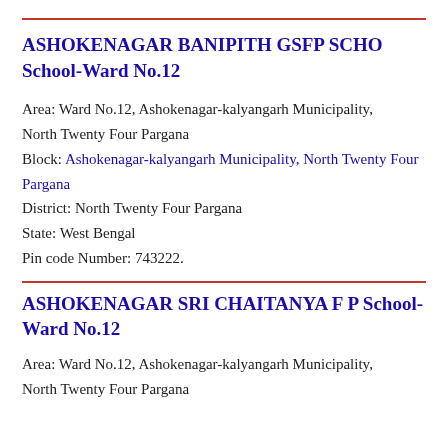ASHOKENAGAR BANIPITH GSFP SCHO School-Ward No.12
Area: Ward No.12, Ashokenagar-kalyangarh Municipality, North Twenty Four Pargana
Block: Ashokenagar-kalyangarh Municipality, North Twenty Four Pargana
District: North Twenty Four Pargana
State: West Bengal
Pin code Number: 743222.
ASHOKENAGAR SRI CHAITANYA F P School-Ward No.12
Area: Ward No.12, Ashokenagar-kalyangarh Municipality, North Twenty Four Pargana